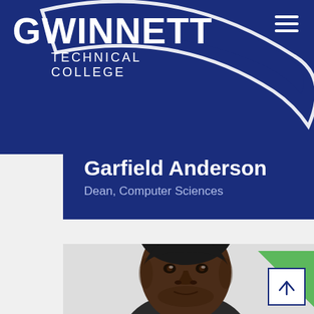[Figure (logo): Gwinnett Technical College logo with white text on navy blue background and white swoosh arc]
Garfield Anderson
Dean, Computer Sciences
[Figure (photo): Headshot photo of Garfield Anderson, a man with short hair, cropped to show face and upper shoulders]